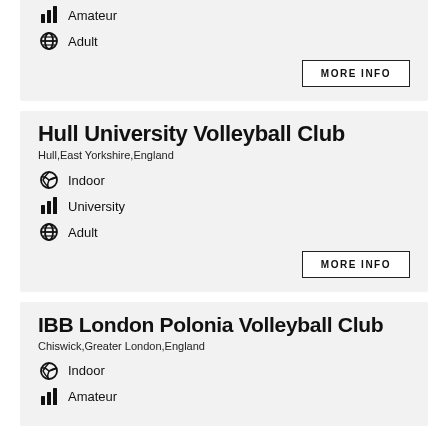Amateur
Adult
Hull University Volleyball Club
Hull,East Yorkshire,England
Indoor
University
Adult
IBB London Polonia Volleyball Club
Chiswick,Greater London,England
Indoor
Amateur